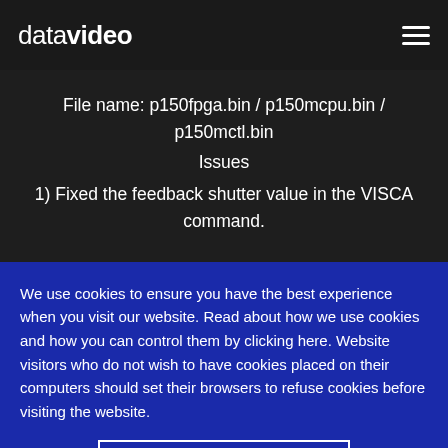datavideo
File name: p150fpga.bin / p150mcpu.bin / p150mctl.bin
Issues
1) Fixed the feedback shutter value in the VISCA command.
We use cookies to ensure you have the best experience when you visit our website. Read about how we use cookies and how you can control them by clicking here. Website visitors who do not wish to have cookies placed on their computers should set their browsers to refuse cookies before visiting the website.
I AGREE